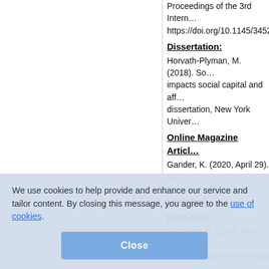Proceedings of the 3rd International… https://doi.org/10.1145/3452…
Dissertation:
Horvath-Plyman, M. (2018). So… impacts social capital and aff… dissertation, New York Univer…
Online Magazine Article:
Gander, K. (2020, April 29). CO… Pre-clinical Tests. Newsweek.
Blog Post:
Rutledge, P. (2019, March 11). https://www.pamelarutledge.
Report by a Group Author:
World Health Organization. (2… nutrition. https://apps.who.int…
Report by Individual Author:
Winthrop, R. (2019, August 20… https://www.brookings.edu/re…
Data Set
Connollie, W. (2017). Conte… Inter-university Consortium fo…
Infographic
American Psychological Asso… sharing-infographic.pdf
Webpage
We use cookies to help provide and enhance our service and tailor content. By closing this message, you agree to the use of cookies.